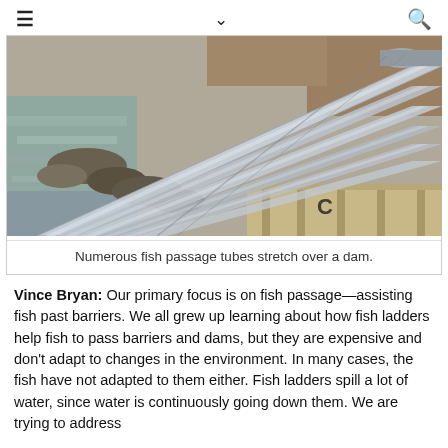≡  ∨  🔍
[Figure (photo): Aerial/side view of numerous silver fish passage tubes stretching diagonally over a dam, with turbulent river water visible on the left and rocky shoreline below the tubes. Wooden scaffolding supports the tubes.]
Numerous fish passage tubes stretch over a dam.
Vince Bryan: Our primary focus is on fish passage—assisting fish past barriers. We all grew up learning about how fish ladders help fish to pass barriers and dams, but they are expensive and don't adapt to changes in the environment. In many cases, the fish have not adapted to them either. Fish ladders spill a lot of water, since water is continuously going down them. We are trying to address the problem of getting fish past barriers while avoiding...